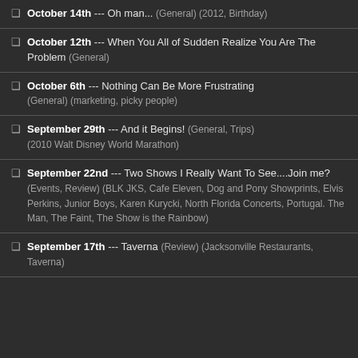October 14th --- Oh man... (General) (2012, Birthday)
October 12th --- When You All of Sudden Realize You Are The Problem (General)
October 6th --- Nothing Can Be More Frustrating (General) (marketing, picky people)
September 29th --- And it Begins! (General, Trips) (2010 Walt Disney World Marathon)
September 22nd --- Two Shows I Really Want To See....Join me? (Events, Review) (BLK JKS, Cafe Eleven, Dog and Pony Showprints, Elvis Perkins, Junior Boys, Karen Kurycki, North Florida Concerts, Portugal. The Man, The Faint, The Show is the Rainbow)
September 17th --- Taverna (Review) (Jacksonville Restaurants, Taverna)